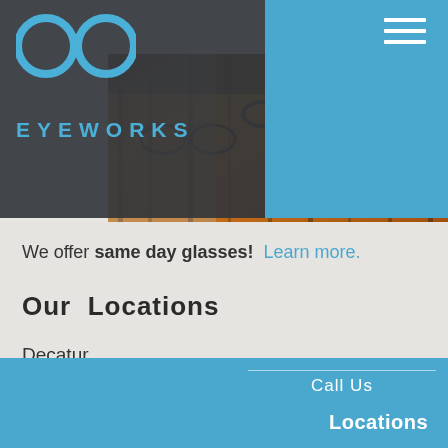EYEWORKS
[Figure (photo): Hero photo of eyeglasses frames on display racks with warm orange/brown background lighting]
We offer same day glasses! Learn more.
Our Locations
Decatur
Phone: 404-377-3937 Eyeworks of Decatur on Facebook
More about this location
Call Us   Locations